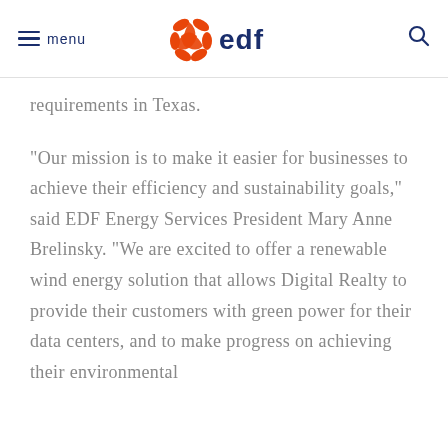menu | EDF logo | search
requirements in Texas.
“Our mission is to make it easier for businesses to achieve their efficiency and sustainability goals,” said EDF Energy Services President Mary Anne Brelinsky. “We are excited to offer a renewable wind energy solution that allows Digital Realty to provide their customers with green power for their data centers, and to make progress on achieving their environmental